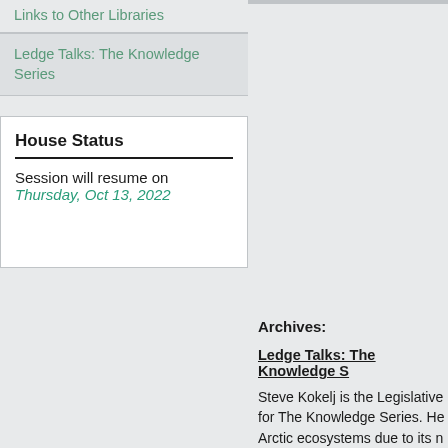Links to Other Libraries
Ledge Talks: The Knowledge Series
House Status
Session will resume on Thursday, Oct 13, 2022
Archives:
Ledge Talks: The Knowledge S...
Steve Kokelj is the Legislative for The Knowledge Series. He Arctic ecosystems due to its n